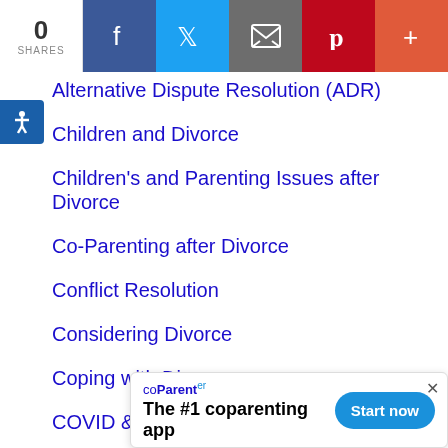0 SHARES | Facebook | Twitter | Email | Pinterest | More
Alternative Dispute Resolution (ADR)
Children and Divorce
Children's and Parenting Issues after Divorce
Co-Parenting after Divorce
Conflict Resolution
Considering Divorce
Coping with Divorce
COVID & Divorce
Divorce News
Divorce Process
Divorce...
[Figure (infographic): coParenter ad banner: The #1 coparenting app. Start now button.]